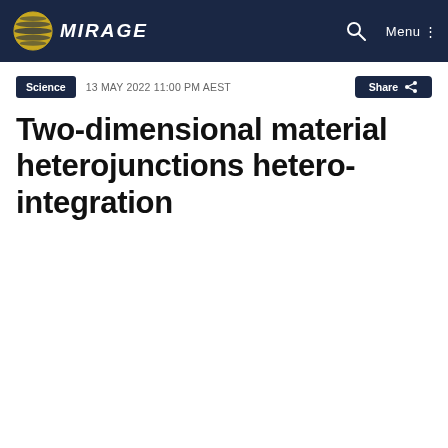THE MIRAGE — Navigation bar with logo, search, and menu
Science   13 MAY 2022 11:00 PM AEST
Two-dimensional material heterojunctions hetero-integration